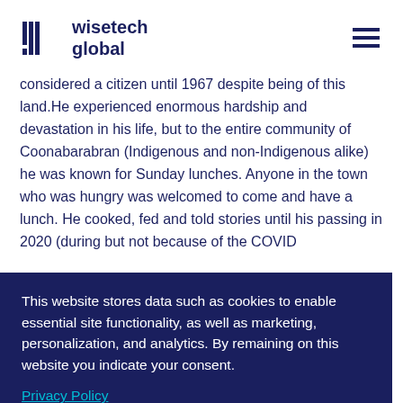wisetech global
considered a citizen until 1967 despite being of this land.He experienced enormous hardship and devastation in his life, but to the entire community of Coonabarabran (Indigenous and non-Indigenous alike) he was known for Sunday lunches. Anyone in the town who was hungry was welcomed to come and have a lunch. He cooked, fed and told stories until his passing in 2020 (during but not because of the COVID
This website stores data such as cookies to enable essential site functionality, as well as marketing, personalization, and analytics. By remaining on this website you indicate your consent.

Privacy Policy
elou and her rs in terms uctures ce and and often be advocacy
and still see pervasive racism in society.